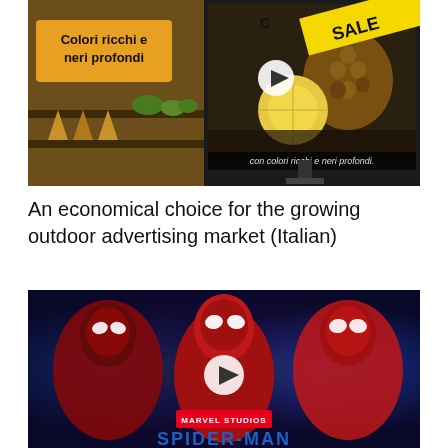[Figure (photo): Screenshot of a TV display advertisement showing a grocery store scene on the left with a yellow text box reading 'Colori ricchi e neri profondi', and on the right a TV screen with a pineapple image, a yellow diagonal SALE banner, and a play button. A subtitle reads 'con colori ricchi e neri profondi.']
An economical choice for the growing outdoor advertising market (Italian)
[Figure (photo): Movie promotional image for Spider-Man featuring three actors in Spider-Man suits against a colorful Marvel cinematic background, with a play button overlay, Marvel Studios logo, and 'SPIDER-MAN' title at the bottom.]